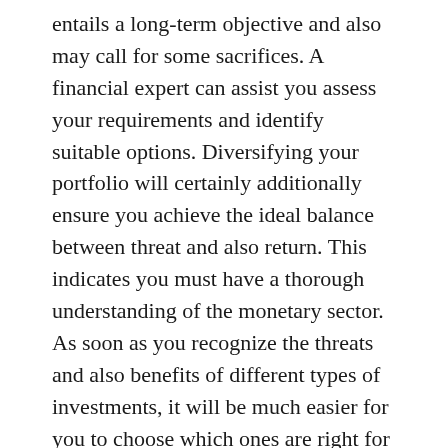entails a long-term objective and also may call for some sacrifices. A financial expert can assist you assess your requirements and identify suitable options. Diversifying your portfolio will certainly additionally ensure you achieve the ideal balance between threat and also return. This indicates you must have a thorough understanding of the monetary sector. As soon as you recognize the threats and also benefits of different types of investments, it will be much easier for you to choose which ones are right for you.
While investment includes threat, the payoff is normally long-lasting. In most cases, investments need months or even years to be